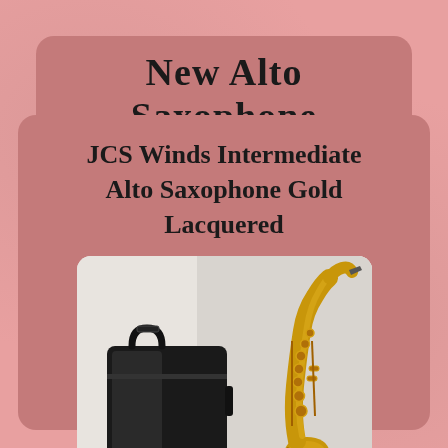New Alto Saxophone
JCS Winds Intermediate Alto Saxophone Gold Lacquered
[Figure (photo): Photo of a gold lacquered alto saxophone standing upright next to a black saxophone case/gig bag, against a light grey/white background.]